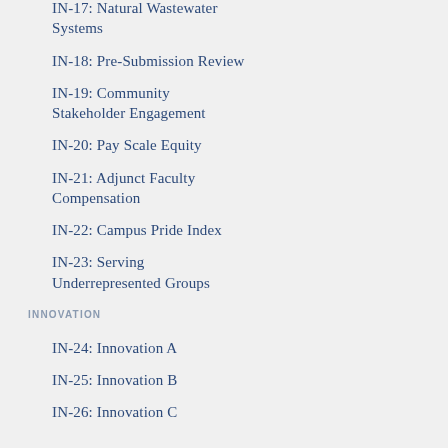IN-17: Natural Wastewater Systems
IN-18: Pre-Submission Review
IN-19: Community Stakeholder Engagement
IN-20: Pay Scale Equity
IN-21: Adjunct Faculty Compensation
IN-22: Campus Pride Index
IN-23: Serving Underrepresented Groups
INNOVATION
IN-24: Innovation A
IN-25: Innovation B
IN-26: Innovation C